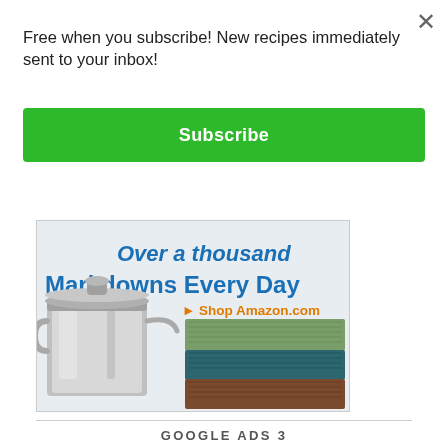Free when you subscribe! New recipes immediately sent to your inbox!
Subscribe
[Figure (illustration): Amazon advertisement banner showing 'Over a thousand Markdowns Every Day' with a stainless steel pot and colorful folded towels, with 'Shop Amazon.com' link in orange.]
GOOGLE ADS 3